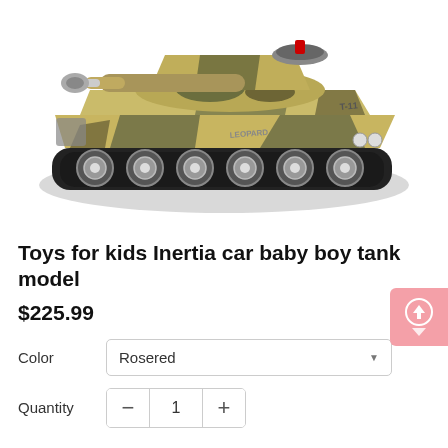[Figure (photo): A toy military tank model with camouflage pattern in tan and dark gray/green colors, with visible tank barrel, wheels, and markings including 'T-11' and 'LEOPARD'.]
Toys for kids Inertia car baby boy tank model
$225.99
Color  Rosered
Quantity  1